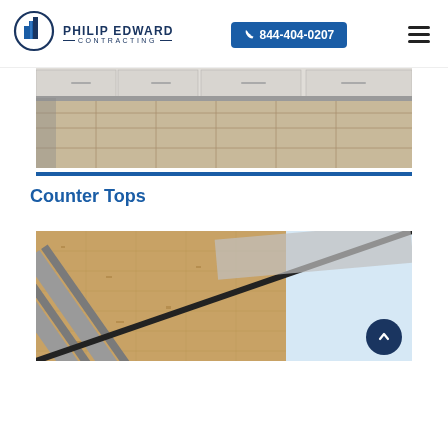[Figure (logo): Philip Edward Contracting logo with circular building icon and company name]
844-404-0207
[Figure (photo): Kitchen floor and lower cabinet photo showing tile flooring with gray trim]
Counter Tops
[Figure (photo): Construction photo showing angled roof framing with OSB sheathing and metal flashing]